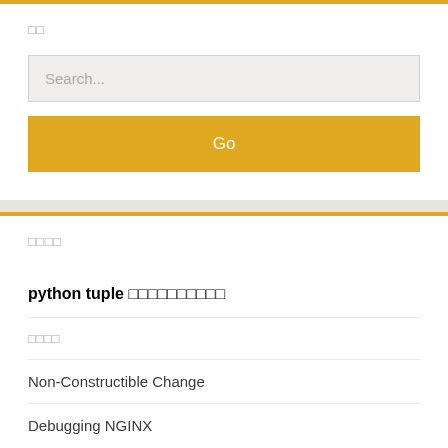□□
Search...
Go
□□□□
python tuple □□□□□□□□□□
□□□□
Non-Constructible Change
Debugging NGINX